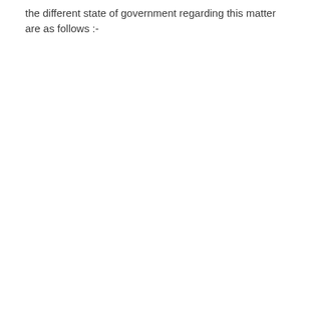the different state of government regarding this matter are as follows :-